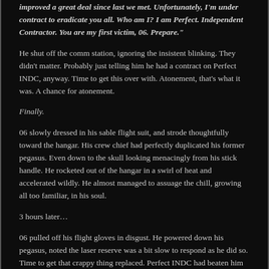improved a great deal since last we met. Unfortunately, I'm under contract to eradicate you all. Who am I? I am Perfect. Independent Contractor. You are my first victim, 06. Prepare."
He shut off the comm station, ignoring the insistent blinking. They didn't matter. Probably just telling him he had a contract on Perfect INDC, anyway. Time to get this over with. Atonement, that's what it was. A chance for atonement.
Finally.
06 slowly dressed in his sable flight suit, and strode thoughtfully toward the hangar. His crew chief had perfectly duplicated his former pegasus. Even down to the skull looking menacingly from his stick handle. He rocketed out of the hangar in a swirl of heat and accelerated wildly. He almost managed to assuage the chill, growing all too familiar, in his soul.
3 hours later…
06 pulled off his flight gloves in disgust. He powered down his pegasus, noted the laser reserve was a bit slow to respond as he did so. Time to get that crappy thing replaced. Perfect INDC had beaten him